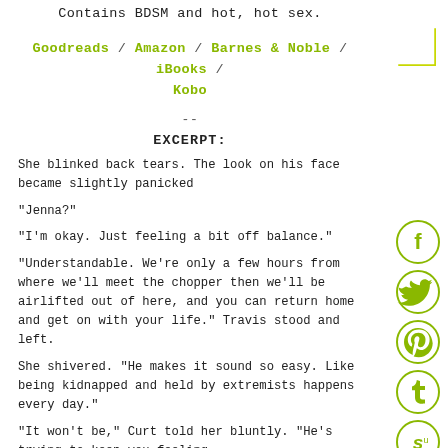Contains BDSM and hot, hot sex.
Goodreads / Amazon / Barnes & Noble / iBooks / Kobo
--
EXCERPT:
She blinked back tears. The look on his face became slightly panicked
"Jenna?"
"I'm okay. Just feeling a bit off balance."
"Understandable. We're only a few hours from where we'll meet the chopper then we'll be airlifted out of here, and you can return home and get on with your life." Travis stood and left.
She shivered. "He makes it sound so easy. Like being kidnapped and held by extremists happens every day."
"It won't be," Curt told her bluntly. "He's trying to keep you feeling